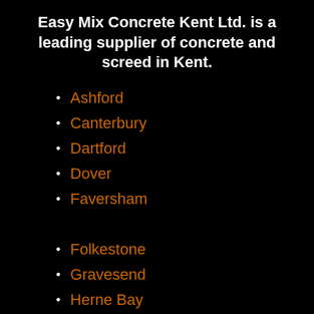Easy Mix Concrete Kent Ltd. is a leading supplier of concrete and screed in Kent.
Ashford
Canterbury
Dartford
Dover
Faversham
Folkestone
Gravesend
Herne Bay
Maidstone
Medway
Sheerness